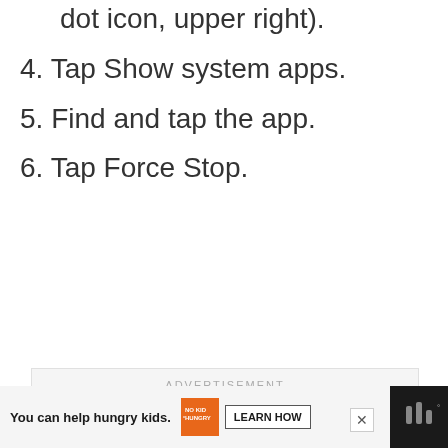dot icon, upper right).
4. Tap Show system apps.
5. Find and tap the app.
6. Tap Force Stop.
[Figure (other): Advertisement placeholder box with light gray background and 'ADVERTISEMENT' label at top center]
You can help hungry kids. [No Kid Hungry logo] LEARN HOW